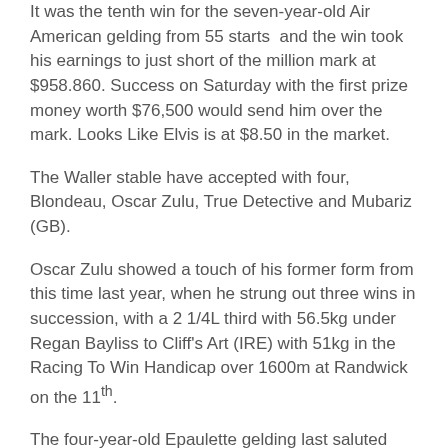It was the tenth win for the seven-year-old Air American gelding from 55 starts  and the win took his earnings to just short of the million mark at $958.860. Success on Saturday with the first prize money worth $76,500 would send him over the mark. Looks Like Elvis is at $8.50 in the market.
The Waller stable have accepted with four, Blondeau, Oscar Zulu, True Detective and Mubariz (GB).
Oscar Zulu showed a touch of his former form from this time last year, when he strung out three wins in succession, with a 2 1/4L third with 56.5kg under Regan Bayliss to Cliff's Art (IRE) with 51kg in the Racing To Win Handicap over 1600m at Randwick on the 11th.
The four-year-old Epaulette gelding last saluted when winning the December Handicap over 1400m at Randwick on December 18th. On Saturday he has barrier seven with 56kg and he is at $8.50.
Blondeau has barrier four and 56.5kg and is rated at $8.00 with TAB, True Detective has barrier eight with 55kg and $12.00 while Mubariz has 53kg under Kathy O'Hara with barrier 15 and $51.00.